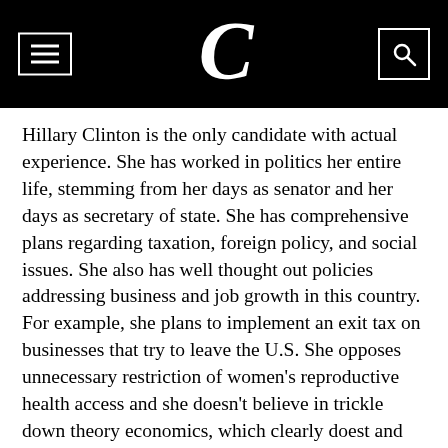Collegian newspaper header with hamburger menu, C logo, and search icon
Hillary Clinton is the only candidate with actual experience. She has worked in politics her entire life, stemming from her days as senator and her days as secretary of state. She has comprehensive plans regarding taxation, foreign policy, and social issues. She also has well thought out policies addressing business and job growth in this country. For example, she plans to implement an exit tax on businesses that try to leave the U.S. She opposes unnecessary restriction of women's reproductive health access and she doesn't believe in trickle down theory economics, which clearly doest and hasn't worked.
A lot of people will say she's too progressive, or that she's a flip flopper, but the fact is, she has been in